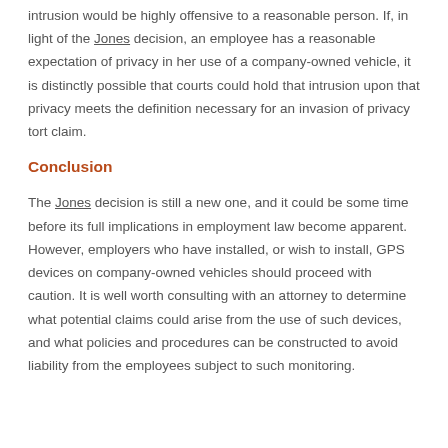intrusion would be highly offensive to a reasonable person. If, in light of the Jones decision, an employee has a reasonable expectation of privacy in her use of a company-owned vehicle, it is distinctly possible that courts could hold that intrusion upon that privacy meets the definition necessary for an invasion of privacy tort claim.
Conclusion
The Jones decision is still a new one, and it could be some time before its full implications in employment law become apparent. However, employers who have installed, or wish to install, GPS devices on company-owned vehicles should proceed with caution. It is well worth consulting with an attorney to determine what potential claims could arise from the use of such devices, and what policies and procedures can be constructed to avoid liability from the employees subject to such monitoring.